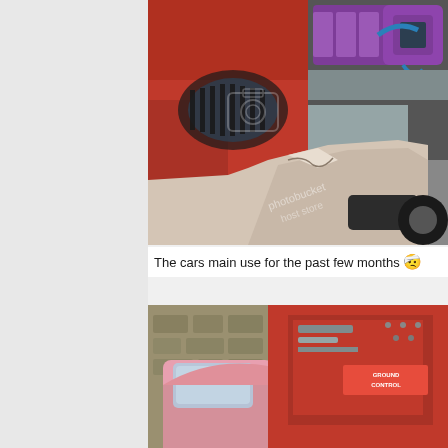[Figure (photo): Close-up photo of a red car's front end showing damage/crumple near the bumper and fender area, with a purple engine or intake component visible under the open hood in the background. A watermark overlay reads 'photobucket host store'.]
The cars main use for the past few months 🤕
[Figure (photo): Partial photo of a red car exterior showing the side/rear area with what appears to be suspension or ground control components visible. The trunk or engine bay area is open showing red panels and equipment labeled 'GROUND CONTROL'.]